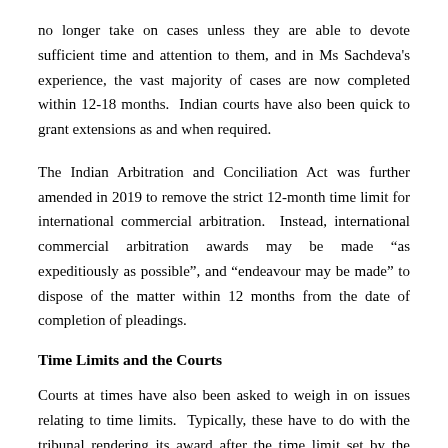no longer take on cases unless they are able to devote sufficient time and attention to them, and in Ms Sachdeva's experience, the vast majority of cases are now completed within 12-18 months. Indian courts have also been quick to grant extensions as and when required.
The Indian Arbitration and Conciliation Act was further amended in 2019 to remove the strict 12-month time limit for international commercial arbitration. Instead, international commercial arbitration awards may be made “as expeditiously as possible”, and “endeavour may be made” to dispose of the matter within 12 months from the date of completion of pleadings.
Time Limits and the Courts
Courts at times have also been asked to weigh in on issues relating to time limits. Typically, these have to do with the tribunal rendering its award after the time limit set by the parties in their arbitration agreement. As Justice Sahay of